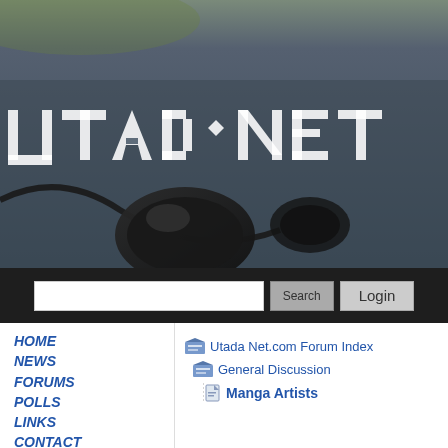[Figure (screenshot): Website header banner with dark gray/blue background, earphone/headphone in foreground, and UTADA NET logo text overlay in white geometric font]
[Figure (screenshot): Search bar with white input field, Search button, and Login button on dark background]
HOME
NEWS
FORUMS
POLLS
LINKS
CONTACT
UTADA
Utada Net.com Forum Index
General Discussion
Manga Artists